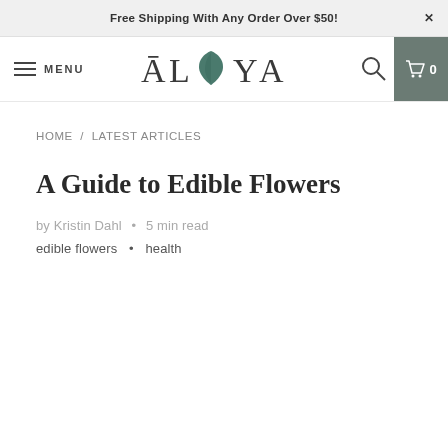Free Shipping With Any Order Over $50!
[Figure (logo): ALOYA brand logo with stylized leaf/shield icon in teal]
HOME / LATEST ARTICLES
A Guide to Edible Flowers
by Kristin Dahl • 5 min read
edible flowers • health